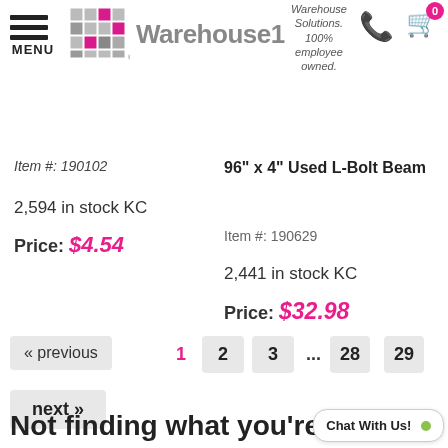[Figure (logo): Warehouse1 logo with menu icon, grid/warehouse graphic, and brand name]
Warehouse Solutions. 100% employee owned.
Item #: 190102
96" x 4" Used L-Bolt Beam
2,594 in stock KC
Price: $4.54
Item #: 190629
2,441 in stock KC
Price: $32.98
« previous
1
2
3
...
28
29
next »
Not finding what you're lo